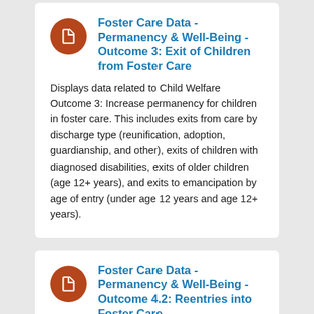Foster Care Data - Permanency & Well-Being - Outcome 3: Exit of Children from Foster Care
Displays data related to Child Welfare Outcome 3: Increase permanency for children in foster care. This includes exits from care by discharge type (reunification, adoption, guardianship, and other), exits of children with diagnosed disabilities, exits of older children (age 12+ years), and exits to emancipation by age of entry (under age 12 years and age 12+ years).
Foster Care Data - Permanency & Well-Being - Outcome 4.2: Reentries into Foster Care